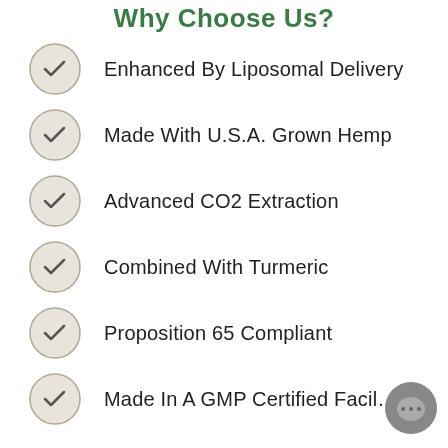Why Choose Us?
Enhanced By Liposomal Delivery
Made With U.S.A. Grown Hemp
Advanced CO2 Extraction
Combined With Turmeric
Proposition 65 Compliant
Made In A GMP Certified Facil…